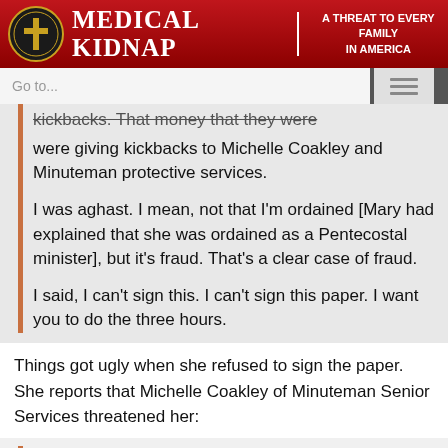MEDICAL KIDNAP | A THREAT TO EVERY FAMILY IN AMERICA
kickbacks. That money that they were giving kickbacks to Michelle Coakley and Minuteman protective services.
I was aghast. I mean, not that I'm ordained [Mary had explained that she was ordained as a Pentecostal minister], but it's fraud. That's a clear case of fraud.
I said, I can't sign this. I can't sign this paper. I want you to do the three hours.
Things got ugly when she refused to sign the paper. She reports that Michelle Coakley of Minuteman Senior Services threatened her:
I thought she was going to strike me. She